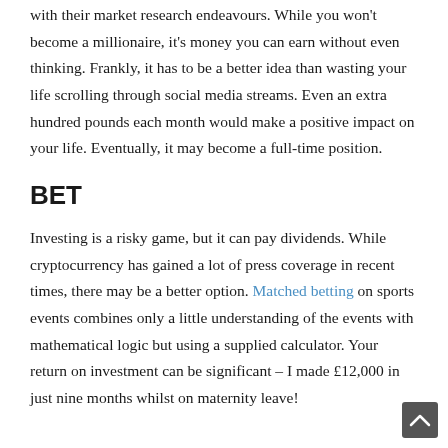with their market research endeavours. While you won't become a millionaire, it's money you can earn without even thinking. Frankly, it has to be a better idea than wasting your life scrolling through social media streams. Even an extra hundred pounds each month would make a positive impact on your life. Eventually, it may become a full-time position.
BET
Investing is a risky game, but it can pay dividends. While cryptocurrency has gained a lot of press coverage in recent times, there may be a better option. Matched betting on sports events combines only a little understanding of the events with mathematical logic but using a supplied calculator. Your return on investment can be significant – I made £12,000 in just nine months whilst on maternity leave!